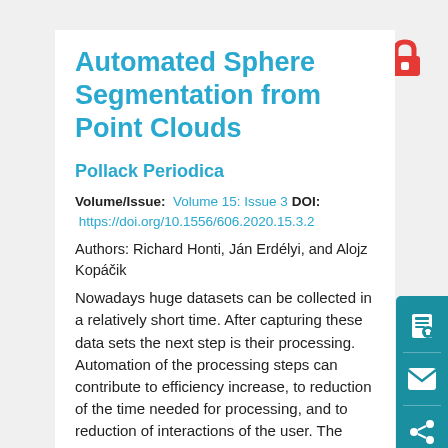Automated Sphere Segmentation from Point Clouds
Pollack Periodica
Volume/Issue:  Volume 15: Issue 3 DOI:  https://doi.org/10.1556/606.2020.15.3.2
Authors: Richard Honti, Ján Erdélyi, and Alojz Kopáčik
Nowadays huge datasets can be collected in a relatively short time. After capturing these data sets the next step is their processing. Automation of the processing steps can contribute to efficiency increase, to reduction of the time needed for processing, and to reduction of interactions of the user. The